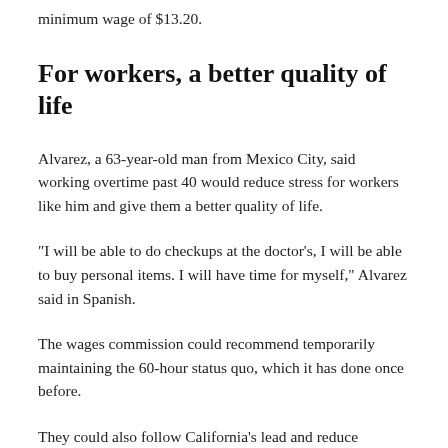minimum wage of $13.20.
For workers, a better quality of life
Alvarez, a 63-year-old man from Mexico City, said working overtime past 40 would reduce stress for workers like him and give them a better quality of life.
“I will be able to do checkups at the doctor’s, I will be able to buy personal items. I will have time for myself,” Alvarez said in Spanish.
The wages commission could recommend temporarily maintaining the 60-hour status quo, which it has done once before.
They could also follow California’s lead and reduce agricultural overtime levels in phases over several years. Large farms in